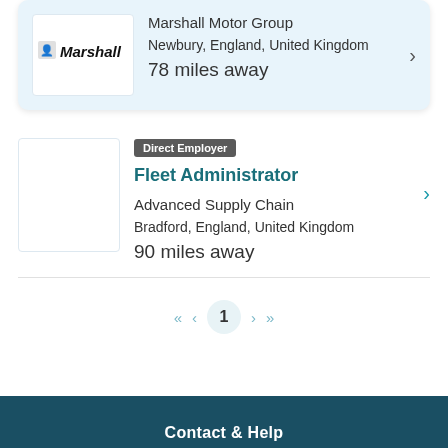[Figure (logo): Marshall logo with person icon]
Marshall Motor Group
Newbury, England, United Kingdom
78 miles away
Direct Employer
Fleet Administrator
Advanced Supply Chain
Bradford, England, United Kingdom
90 miles away
1
Contact & Help